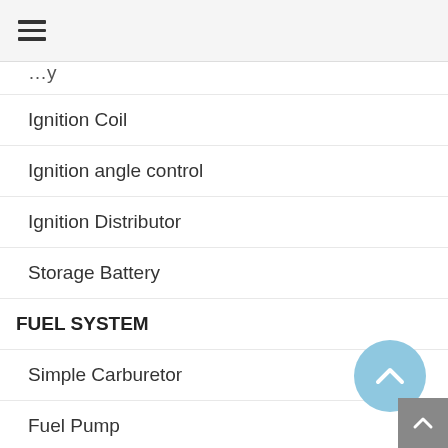☰
…y
Ignition Coil
Ignition angle control
Ignition Distributor
Storage Battery
FUEL SYSTEM
Simple Carburetor
Fuel Pump
CAR REPAIR
Engine Overhaul
Suspension Repair